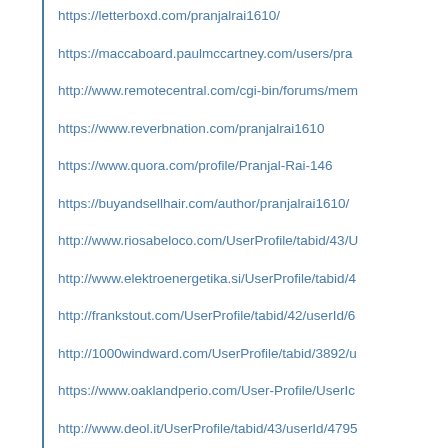https://letterboxd.com/pranjalrai1610/
https://maccaboard.paulmccartney.com/users/pra...
http://www.remotecentral.com/cgi-bin/forums/mem...
https://www.reverbnation.com/pranjalrai1610
https://www.quora.com/profile/Pranjal-Rai-146
https://buyandsellhair.com/author/pranjalrai1610/
http://www.riosabeloco.com/UserProfile/tabid/43/U...
http://www.elektroenergetika.si/UserProfile/tabid/4...
http://frankstout.com/UserProfile/tabid/42/userId/6...
http://1000windward.com/UserProfile/tabid/3892/u...
https://www.oaklandperio.com/User-Profile/UserIc...
http://www.deol.it/UserProfile/tabid/43/userId/4795...
https://www.hel24.de/Activity-Feed/My-Profile/Us...